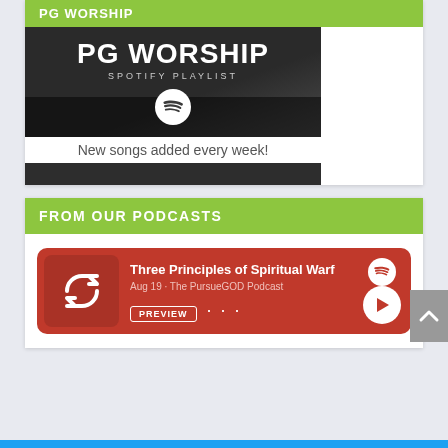PG WORSHIP
[Figure (screenshot): PG Worship Spotify Playlist banner image with dark background, crowd, white text 'PG WORSHIP', subtitle 'SPOTIFY PLAYLIST', and white Spotify logo]
New songs added every week!
FROM OUR PODCASTS
[Figure (screenshot): Podcast card on red background showing a refresh/cycle icon, title 'Three Principles of Spiritual Warf', meta 'Aug 19 · The PursueGOD Podcast', PREVIEW button, dots, play button, and Spotify icon]